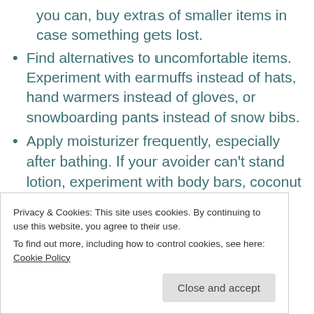you can, buy extras of smaller items in case something gets lost.
Find alternatives to uncomfortable items. Experiment with earmuffs instead of hats, hand warmers instead of gloves, or snowboarding pants instead of snow bibs.
Apply moisturizer frequently, especially after bathing. If your avoider can't stand lotion, experiment with body bars, coconut oil, shea butter, or aloe vera gel.
Stay hydrated by drinking water throughout the
Privacy & Cookies: This site uses cookies. By continuing to use this website, you agree to their use.
To find out more, including how to control cookies, see here: Cookie Policy